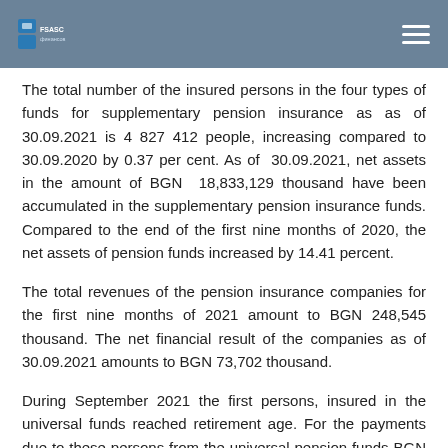FSSC logo and navigation
The total number of the insured persons in the four types of funds for supplementary pension insurance as as of 30.09.2021 is 4 827 412 people, increasing compared to 30.09.2020 by 0.37 per cent. As of 30.09.2021, net assets in the amount of BGN 18,833,129 thousand have been accumulated in the supplementary pension insurance funds. Compared to the end of the first nine months of 2020, the net assets of pension funds increased by 14.41 percent.
The total revenues of the pension insurance companies for the first nine months of 2021 amount to BGN 248,545 thousand. The net financial result of the companies as of 30.09.2021 amounts to BGN 73,702 thousand.
During September 2021 the first persons, insured in the universal funds reached retirement age. For the payments due to these persons from the universal pension funds BGN 334 thousand are set aside for lifelong pensions, BGN 824 thousand for deferred and